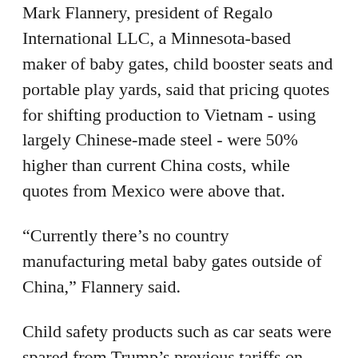Mark Flannery, president of Regalo International LLC, a Minnesota-based maker of baby gates, child booster seats and portable play yards, said that pricing quotes for shifting production to Vietnam - using largely Chinese-made steel - were 50% higher than current China costs, while quotes from Mexico were above that.
“Currently there’s no country manufacturing metal baby gates outside of China,” Flannery said.
Child safety products such as car seats were spared from Trump’s previous tariffs on $200 billion worth of Chinese goods, imposed in September 2018. But in the drive to pressure China in trade negotiations, USTR put them back on the list, along with other products spared